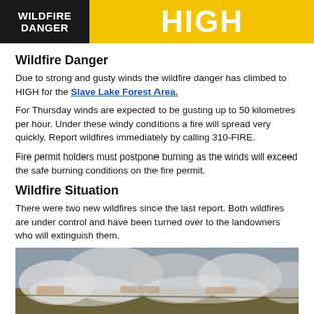[Figure (infographic): Wildfire Danger HIGH banner: left black panel with white text 'WILDFIRE DANGER', right yellow panel with white bold text 'HIGH']
Wildfire Danger
Due to strong and gusty winds the wildfire danger has climbed to HIGH for the Slave Lake Forest Area.
For Thursday winds are expected to be gusting up to 50 kilometres per hour. Under these windy conditions a fire will spread very quickly. Report wildfires immediately by calling 310-FIRE.
Fire permit holders must postpone burning as the winds will exceed the safe burning conditions on the fire permit.
Wildfire Situation
There were two new wildfires since the last report. Both wildfires are under control and have been turned over to the landowners who will extinguish them.
[Figure (photo): Aerial or ground-level photo of a wildfire with smoke rising from a burning field or forest area]